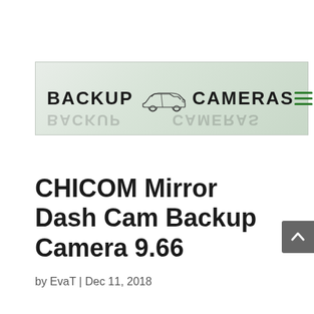[Figure (logo): Backup Cameras website logo banner with car silhouette sketch and hamburger menu icon on green/grey gradient background]
CHICOM Mirror Dash Cam Backup Camera 9.66
by EvaT | Dec 11, 2018